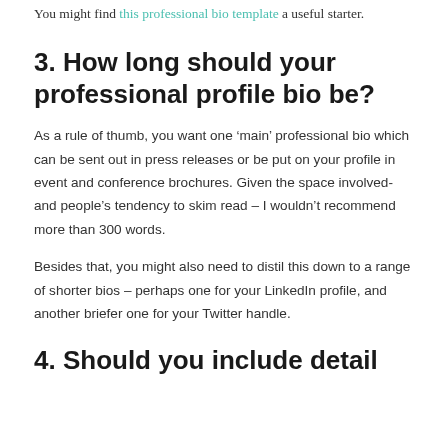You might find this professional bio template a useful starter.
3. How long should your professional profile bio be?
As a rule of thumb, you want one ‘main’ professional bio which can be sent out in press releases or be put on your profile in event and conference brochures. Given the space involved- and people’s tendency to skim read – I wouldn’t recommend more than 300 words.
Besides that, you might also need to distil this down to a range of shorter bios – perhaps one for your LinkedIn profile, and another briefer one for your Twitter handle.
4. Should you include detail